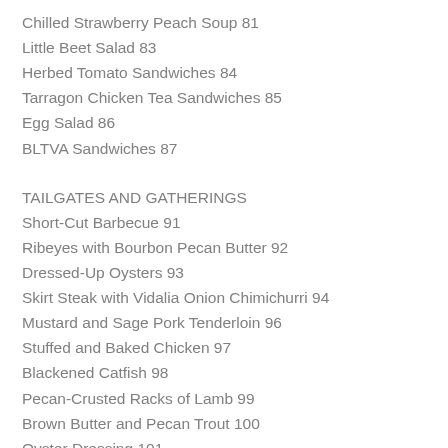Chilled Strawberry Peach Soup 81
Little Beet Salad 83
Herbed Tomato Sandwiches 84
Tarragon Chicken Tea Sandwiches 85
Egg Salad 86
BLTVA Sandwiches 87
TAILGATES AND GATHERINGS
Short-Cut Barbecue 91
Ribeyes with Bourbon Pecan Butter 92
Dressed-Up Oysters 93
Skirt Steak with Vidalia Onion Chimichurri 94
Mustard and Sage Pork Tenderloin 96
Stuffed and Baked Chicken 97
Blackened Catfish 98
Pecan-Crusted Racks of Lamb 99
Brown Butter and Pecan Trout 100
Oyster Dressing 101
Mama's Baked Beans 102
Grilled Vidalias 103
BUSY WEEKNIGHT SUPPERS